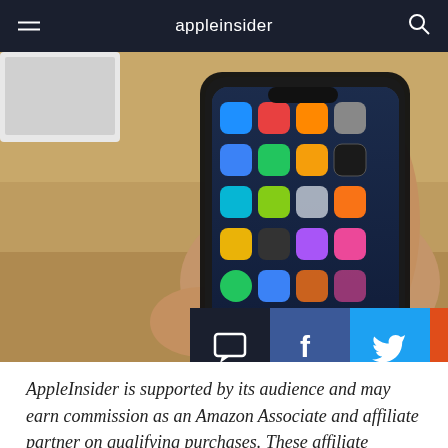appleinsider
[Figure (photo): A hand holding an iPhone X showing the home screen with app icons, resting on a wooden surface with a white laptop visible in the background. AppleInsider watermark in lower right.]
AppleInsider is supported by its audience and may earn commission as an Amazon Associate and affiliate partner on qualifying purchases. These affiliate partnerships do not influence our editorial content.
Day in and day out, a lot of you come by and read what we've written about. Here are the